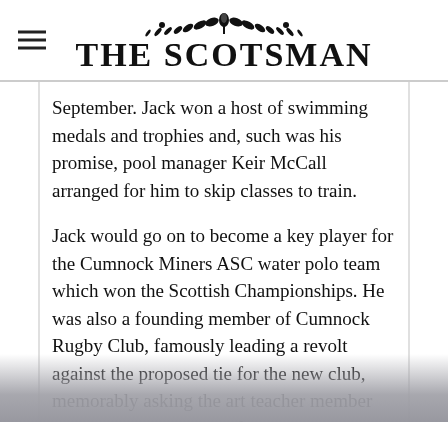THE SCOTSMAN
September. Jack won a host of swimming medals and trophies and, such was his promise, pool manager Keir McCall arranged for him to skip classes to train.
Jack would go on to become a key player for the Cumnock Miners ASC water polo team which won the Scottish Championships. He was also a founding member of Cumnock Rugby Club, famously leading a revolt against the proposed tie for the new club, memorably asking the art teacher member who submitted designs if: “You want us to wear striped blazers and straw hooters as well?”